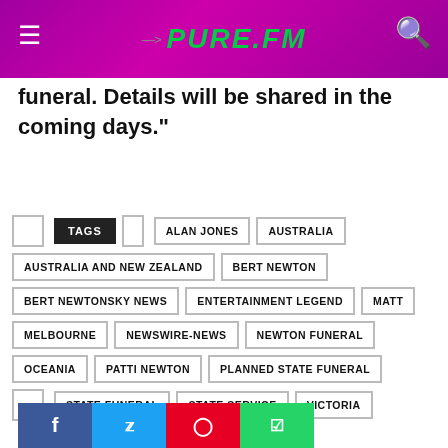PURE.FM
funeral. Details will be shared in the coming days."
TAGS | ALAN JONES | AUSTRALIA | AUSTRALIA AND NEW ZEALAND | BERT NEWTON | BERT NEWTONSKY NEWS | ENTERTAINMENT LEGEND | MATT | MELBOURNE | NEWSWIRE-NEWS | NEWTON FUNERAL | OCEANIA | PATTI NEWTON | PLANNED STATE FUNERAL | STATE FUNERAL | STATE SERVICE | VICTORIA